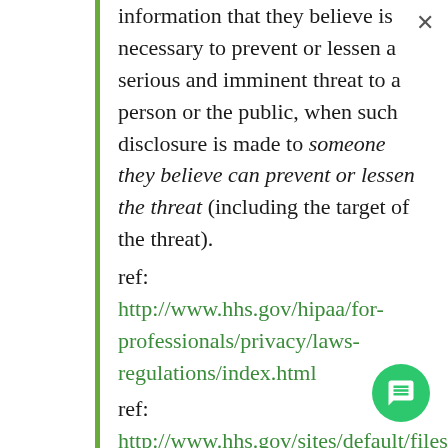information that they believe is necessary to prevent or lessen a serious and imminent threat to a person or the public, when such disclosure is made to someone they believe can prevent or lessen the threat (including the target of the threat).
ref: http://www.hhs.gov/hipaa/for-professionals/privacy/laws-regulations/index.html
ref: http://www.hhs.gov/sites/default/files/ocr/office/lettertoonhcp.pdf